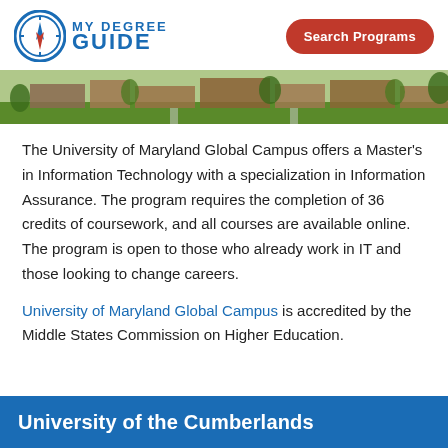MY DEGREE GUIDE | Search Programs
[Figure (photo): Aerial/wide view of a university campus with green lawns and red-brick buildings]
The University of Maryland Global Campus offers a Master's in Information Technology with a specialization in Information Assurance. The program requires the completion of 36 credits of coursework, and all courses are available online. The program is open to those who already work in IT and those looking to change careers.
University of Maryland Global Campus is accredited by the Middle States Commission on Higher Education.
University of the Cumberlands